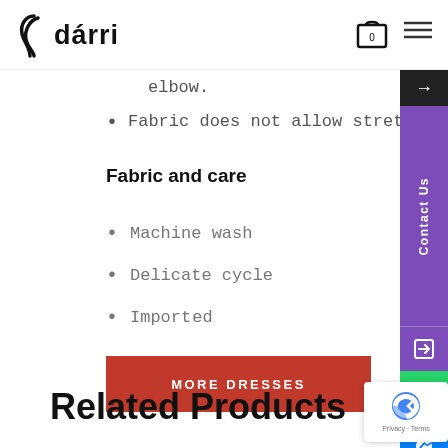Jdárri
elbow.
Fabric does not allow stretch.
Fabric and care
Machine wash
Delicate cycle
Imported
MORE DRESSES
Related Products